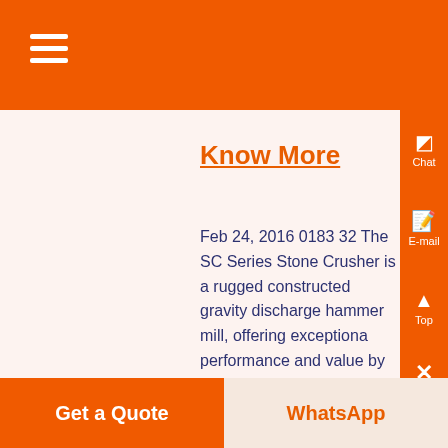≡
Know More
Feb 24, 2016 0183 32 The SC Series Stone Crusher is a rugged constructed gravity discharge hammer mill, offering exceptional performance and value by eliminating the high cost of collecting and transporting stone scrap for disposal Available in two standard sizes, the SC Series can reduce stone scrap to particle si...
Get a Quote | WhatsApp